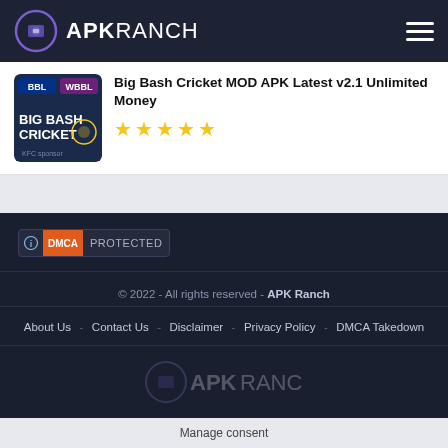APKRANCH
Big Bash Cricket MOD APK Latest v2.1 Unlimited Money
[Figure (illustration): Big Bash Cricket game thumbnail with BBL and WBBL logos on dark background]
★★★★★
[Figure (logo): DMCA Protected badge]
© 2022 - All rights reserved - APK Ranch
About Us - Contact Us - Disclaimer - Privacy Policy - DMCA Takedown
[Figure (logo): APK Ranch watermark logo in footer]
Manage consent